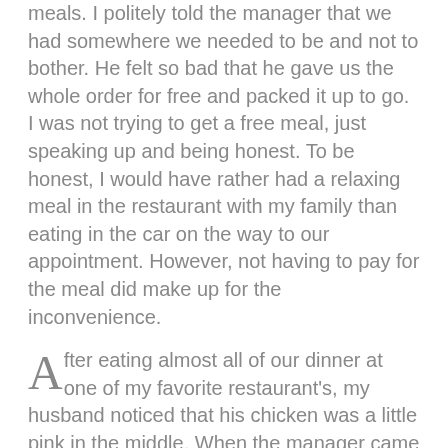meals. I politely told the manager that we had somewhere we needed to be and not to bother. He felt so bad that he gave us the whole order for free and packed it up to go. I was not trying to get a free meal, just speaking up and being honest. To be honest, I would have rather had a relaxing meal in the restaurant with my family than eating in the car on the way to our appointment. However, not having to pay for the meal did make up for the inconvenience.
After eating almost all of our dinner at one of my favorite restaurant's, my husband noticed that his chicken was a little pink in the middle. When the manager came by to ask how our food was, we asked if it was supposed to be pink. Well, it wasn't and our meal was free that night.
A few years ago we were at a new restaurant and when the manager came by to ask how the food was I told him mine was not very good. He apologized and had me order something else and didn't charge for the previous order. I told him it was my fault that I didn't like it (I'm a picky eater) and that I was fine, but he insisted on making me happy.